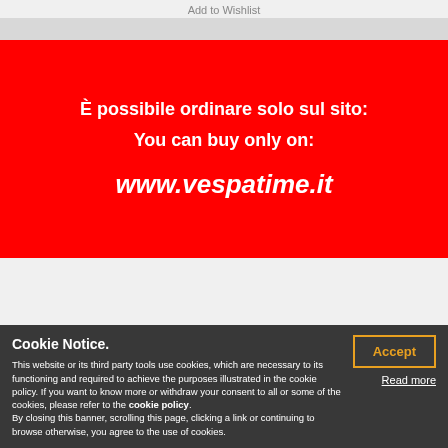Add to Wishlist
[Figure (infographic): Red banner with Italian and English text: 'È possibile ordinare solo sul sito:' and 'You can buy only on:' followed by 'www.vespatime.it']
Cookie Notice. This website or its third party tools use cookies, which are necessary to its functioning and required to achieve the purposes illustrated in the cookie policy. If you want to know more or withdraw your consent to all or some of the cookies, please refer to the cookie policy. By closing this banner, scrolling this page, clicking a link or continuing to browse otherwise, you agree to the use of cookies.